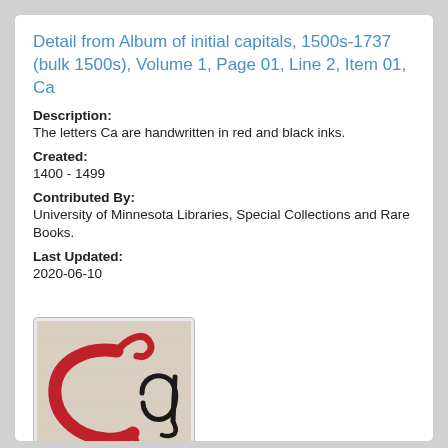Detail from Album of initial capitals, 1500s-1737 (bulk 1500s), Volume 1, Page 01, Line 2, Item 01, Ca
Description:
The letters Ca are handwritten in red and black inks.
Created:
1400 - 1499
Contributed By:
University of Minnesota Libraries, Special Collections and Rare Books.
Last Updated:
2020-06-10
[Figure (photo): Thumbnail image of handwritten letters 'Ca' in red and black inks on aged parchment background]